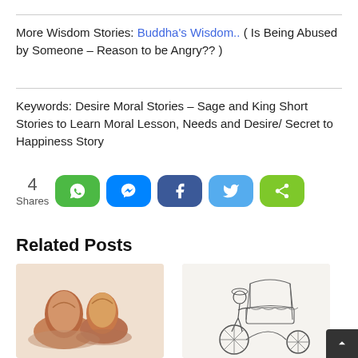More Wisdom Stories: Buddha's Wisdom.. ( Is Being Abused by Someone – Reason to be Angry?? )
Keywords: Desire Moral Stories – Sage and King Short Stories to Learn Moral Lesson, Needs and Desire/ Secret to Happiness Story
[Figure (infographic): Social share buttons row: 4 Shares count, WhatsApp (green), Messenger (blue), Facebook (dark blue), Twitter (light blue), Share (yellow-green)]
Related Posts
[Figure (photo): Brown ceramic or clay decorative figurines shaped like mushrooms or snails on a light background]
[Figure (illustration): Pencil sketch illustration of a person riding a cycle rickshaw]